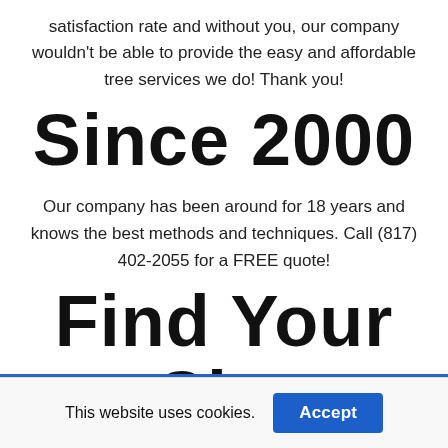satisfaction rate and without you, our company wouldn't be able to provide the easy and affordable tree services we do! Thank you!
Since 2000
Our company has been around for 18 years and knows the best methods and techniques. Call (817) 402-2055 for a FREE quote!
Find Your City
This website uses cookies.
Accept